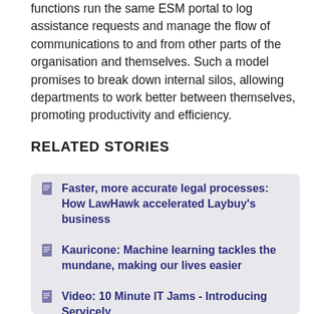functions run the same ESM portal to log assistance requests and manage the flow of communications to and from other parts of the organisation and themselves. Such a model promises to break down internal silos, allowing departments to work better between themselves, promoting productivity and efficiency.
RELATED STORIES
Faster, more accurate legal processes: How LawHawk accelerated Laybuy's business
Kauricone: Machine learning tackles the mundane, making our lives easier
Video: 10 Minute IT Jams - Introducing Servicely